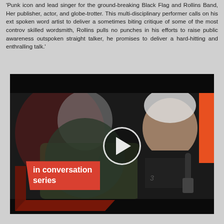'Punk icon and lead singer for the ground-breaking Black Flag and Rollins Band, Her publisher, actor, and globe-trotter. This multi-disciplinary performer calls on his ext spoken word artist to deliver a sometimes biting critique of some of the most controv skilled wordsmith, Rollins pulls no punches in his efforts to raise public awareness outspoken straight talker, he promises to deliver a hard-hitting and enthralling talk.'
[Figure (photo): Video thumbnail showing two people in conversation on stage. A blurred person in the foreground left, and a tattooed man with white/grey hair wearing a black t-shirt holding a microphone on the right. An orange vertical accent is visible top-right. A play button overlay is in the center. An 'in conversation series' red label with 3D shadow effect is in the lower left.]